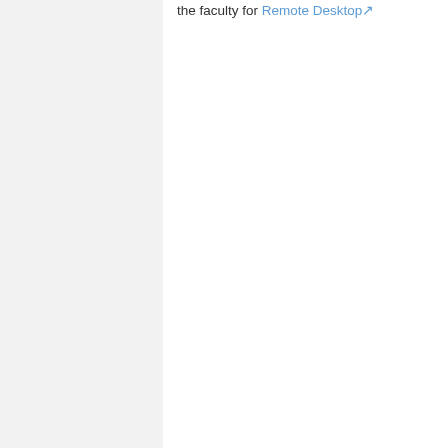the faculty for Remote Desktop